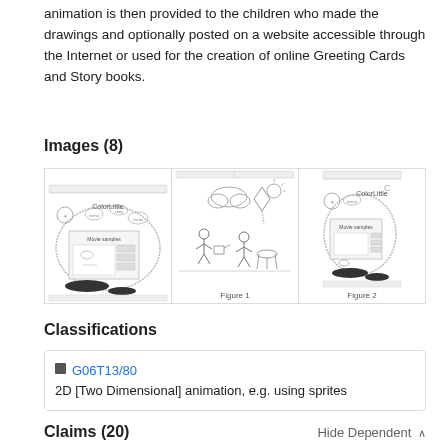animation is then provided to the children who made the drawings and optionally posted on a website accessible through the Internet or used for the creation of online Greeting Cards and Story books.
Images (8)
[Figure (screenshot): Three screenshots: first shows a web application interface called ColorLittle with Movie samples panel; second shows a child's line drawing with figures, kite, and clouds (Figure 1); third shows another ColorLittle screenshot similar to the first (Figure 2).]
Classifications
G06T13/80  2D [Two Dimensional] animation, e.g. using sprites
Claims (20)
Hide Dependent